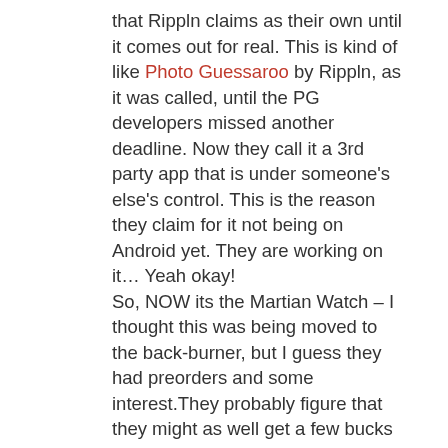that Rippln claims as their own until it comes out for real. This is kind of like Photo Guessaroo by Rippln, as it was called, until the PG developers missed another deadline. Now they call it a 3rd party app that is under someone's else's control. This is the reason they claim for it not being on Android yet. They are working on it… Yeah okay!
So, NOW its the Martian Watch – I thought this was being moved to the back-burner, but I guess they had preorders and some interest.They probably figure that they might as well get a few bucks while they can… I wonder how long it will be before they start pushing Russell Brunson training and Jonathan Budd videos to the Rippln Community.
Good News, you can purchase this watch without going through Rippln if you want. You are not required to pay $95/activation fee and $30/month to get this watch…. I know the FREE PLAYING Rippln Fans can also buy this watch from Rippln rewarding